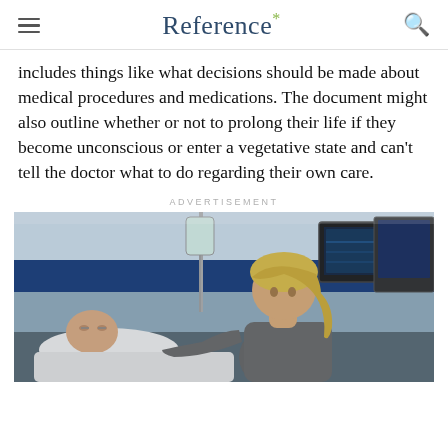Reference*
includes things like what decisions should be made about medical procedures and medications. The document might also outline whether or not to prolong their life if they become unconscious or enter a vegetative state and can't tell the doctor what to do regarding their own care.
ADVERTISEMENT
[Figure (photo): A healthcare worker or visitor with blonde hair in a ponytail leans over a patient lying in a hospital bed, with medical equipment including an IV drip and monitors visible in the background against a blue and white hospital room wall.]